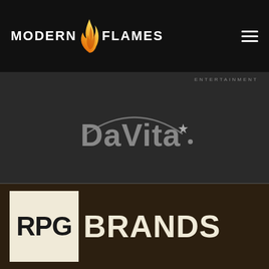[Figure (logo): Modern Flames logo — flame icon between MODERN and FLAMES text, white on black header bar]
[Figure (logo): DaVita logo — stylized text with arc and star above, gray on dark gray background, with ENTERTAINMENT label top right]
[Figure (logo): RPG Brands logo — RPG in dark bold letters on cream/ivory square block, BRANDS in large white bold letters on dark brown background]